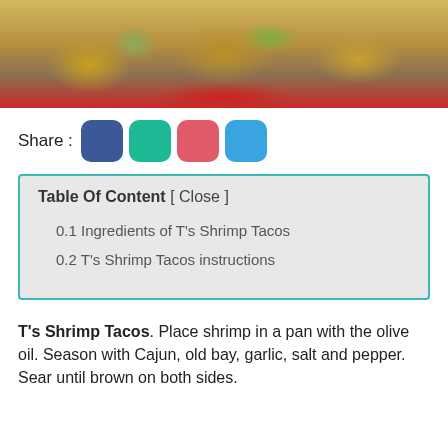[Figure (photo): Close-up photo of shrimp tacos with green avocado sauce and crumbled cheese on corn tortillas on a red plate]
Share :
| 0.1 Ingredients of T's Shrimp Tacos |
| 0.2 T's Shrimp Tacos instructions |
T's Shrimp Tacos. Place shrimp in a pan with the olive oil. Season with Cajun, old bay, garlic, salt and pepper. Sear until brown on both sides.